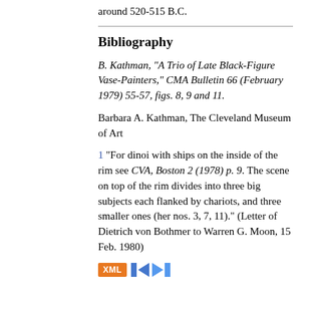around 520-515 B.C.
Bibliography
B. Kathman, "A Trio of Late Black-Figure Vase-Painters," CMA Bulletin 66 (February 1979) 55-57, figs. 8, 9 and 11.
Barbara A. Kathman, The Cleveland Museum of Art
1 "For dinoi with ships on the inside of the rim see CVA, Boston 2 (1978) p. 9. The scene on top of the rim divides into three big subjects each flanked by chariots, and three smaller ones (her nos. 3, 7, 11)." (Letter of Dietrich von Bothmer to Warren G. Moon, 15 Feb. 1980)
[Figure (other): Navigation bar with XML button and left/right arrow navigation icons]